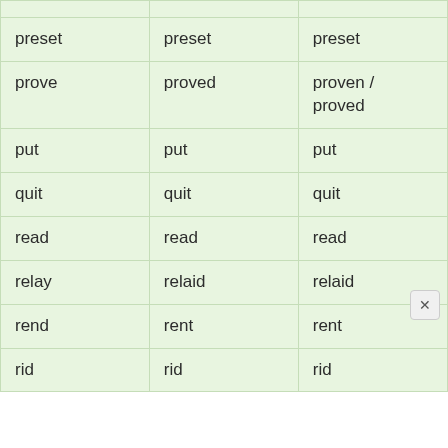| Base form | Past simple | Past participle |
| --- | --- | --- |
| preset | preset | preset |
| prove | proved | proven / proved |
| put | put | put |
| quit | quit | quit |
| read | read | read |
| relay | relaid | relaid |
| rend | rent | rent |
| rid | rid | rid |